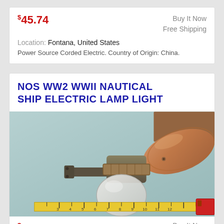$45.74
Buy It Now
Free Shipping
Location: Fontana, United States
Power Source Corded Electric. Country of Origin: China.
NOS WW2 WWII NAUTICAL SHIP ELECTRIC LAMP LIGHT
[Figure (photo): A WW2 WWII nautical ship electric lamp light shown with a measuring tape on a light blue background. The lamp has a brass/bronze fixture with a frosted glass globe and a mounting bracket. Next to it is a large copper/bronze reflector shade. A yellow measuring tape spans the bottom showing measurements from about 1 to 12 inches.]
$55.00
Buy It Now